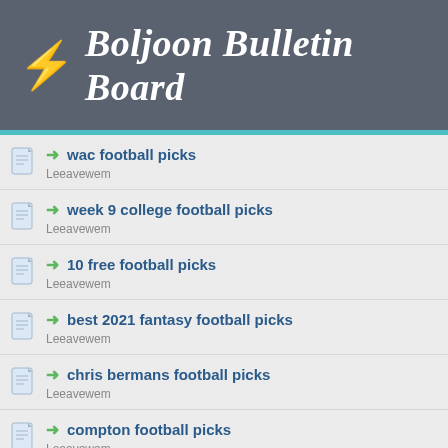Boljoon Bulletin Board
wac football picks
Leeavewem
week 9 college football picks
Leeavewem
10 free football picks
Leeavewem
best 2021 fantasy football picks
Leeavewem
chris bermans football picks
Leeavewem
compton football picks
Leeavewem
correct score for today's game